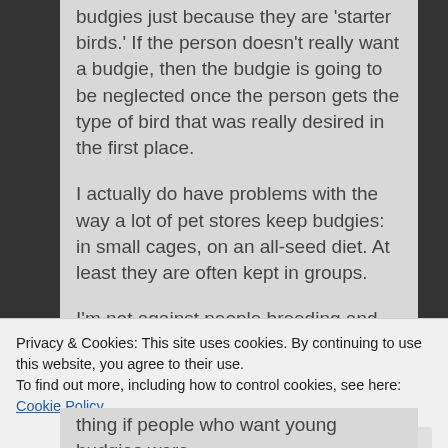budgies just because they are 'starter birds.' If the person doesn't really want a budgie, then the budgie is going to be neglected once the person gets the type of bird that was really desired in the first place.
I actually do have problems with the way a lot of pet stores keep budgies: in small cages, on an all-seed diet. At least they are often kept in groups.
I'm not against people breeding and keeping budgies, as they can make nice, engaging pets. I would, however, like to see the average pet store care for them better. They live longer if given greens and other types of food along
Privacy & Cookies: This site uses cookies. By continuing to use this website, you agree to their use.
To find out more, including how to control cookies, see here: Cookie Policy
thing if people who want young budgies were